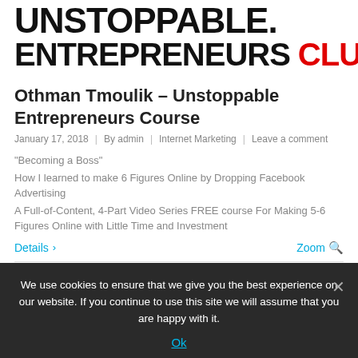UNSTOPPABLE. ENTREPRENEURS CLUB
Othman Tmoulik – Unstoppable Entrepreneurs Course
January 17, 2018 | By admin | Internet Marketing | Leave a comment
“Becoming a Boss”
How I learned to make 6 Figures Online by Dropping Facebook Advertising
A Full-of-Content, 4-Part Video Series FREE course For Making 5-6 Figures Online with Little Time and Investment
Details > ... Zoom
We use cookies to ensure that we give you the best experience on our website. If you continue to use this site we will assume that you are happy with it.
Ok